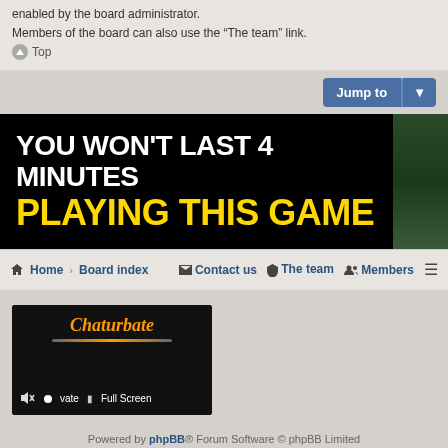enabled by the board administrator.
Members of the board can also use the “The team” link.
↑ Top
[Figure (screenshot): Jump to button with dropdown arrow, blue button]
[Figure (infographic): Advertisement banner: YOU WON’T LAST 4 MINUTES PLAYING THIS GAME - black background with white and yellow text]
Home > Board index   Contact us   The team   Members
[Figure (screenshot): Chaturbate ad banner showing logo, Private, Full Screen controls]
Powered by phpBB® Forum Software © phpBB Limited
Style by Arty - phpBB 3.3 by MrGaby
Privacy | Terms